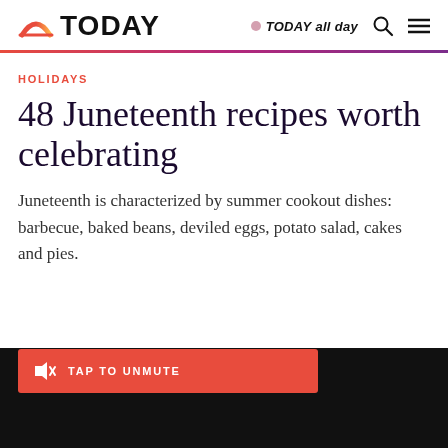TODAY — TODAY all day
HOLIDAYS
48 Juneteenth recipes worth celebrating
Juneteenth is characterized by summer cookout dishes: barbecue, baked beans, deviled eggs, potato salad, cakes and pies.
TAP TO UNMUTE